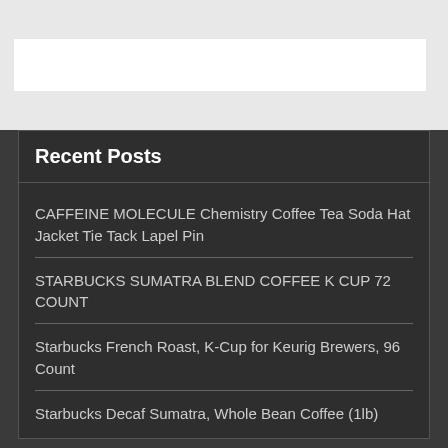[Figure (screenshot): White search input box in a light gray header bar]
Recent Posts
CAFFEINE MOLECULE Chemistry Coffee Tea Soda Hat Jacket Tie Tack Lapel Pin
STARBUCKS SUMATRA BLEND COFFEE K CUP 72 COUNT
Starbucks French Roast, K-Cup for Keurig Brewers, 96 Count
Starbucks Decaf Sumatra, Whole Bean Coffee (1lb)
Coffee Store Tags: